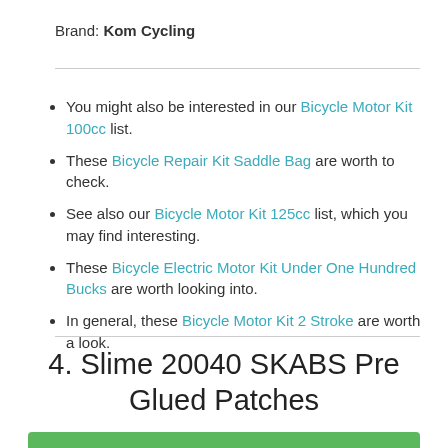Brand: Kom Cycling
You might also be interested in our Bicycle Motor Kit 100cc list.
These Bicycle Repair Kit Saddle Bag are worth to check.
See also our Bicycle Motor Kit 125cc list, which you may find interesting.
These Bicycle Electric Motor Kit Under One Hundred Bucks are worth looking into.
In general, these Bicycle Motor Kit 2 Stroke are worth a look.
4. Slime 20040 SKABS Pre Glued Patches